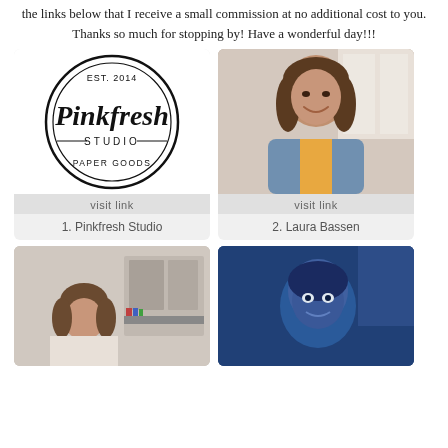the links below that I receive a small commission at no additional cost to you. Thanks so much for stopping by! Have a wonderful day!!!
[Figure (logo): Pinkfresh Studio circular logo with text EST. 2014 and PAPER GOODS, with visit link footer]
1. Pinkfresh Studio
[Figure (photo): Portrait photo of Laura Bassen, smiling woman with brown hair wearing a denim jacket, with visit link footer]
2. Laura Bassen
[Figure (photo): Photo of a woman in a craft room, partially visible]
[Figure (photo): Blue-tinted photo of a woman looking up]